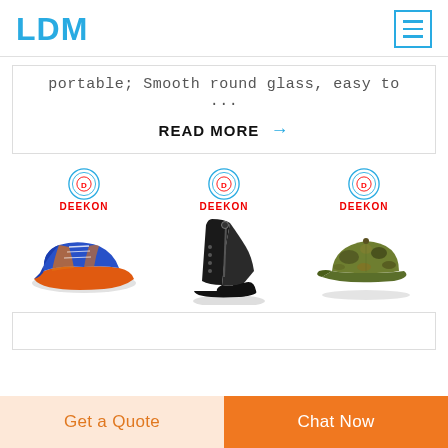LDM
portable; Smooth round glass, easy to ...
READ MORE →
[Figure (photo): Three product images with DEEKON branding: blue/orange athletic sneakers, black military lace-up boot, and camouflage baseball cap]
Get a Quote
Chat Now